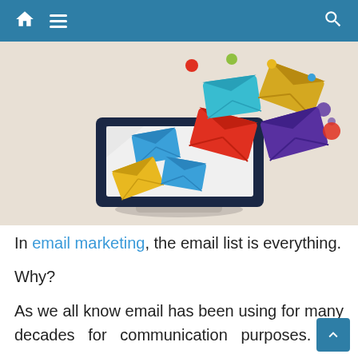Navigation bar with home, menu, and search icons
[Figure (illustration): Illustration of a laptop with colorful email envelopes flying out of the screen on a beige background. Envelopes are in blue, yellow, red, and purple colors with decorative dots.]
In email marketing, the email list is everything.
Why?
As we all know email has been using for many decades for communication purposes.